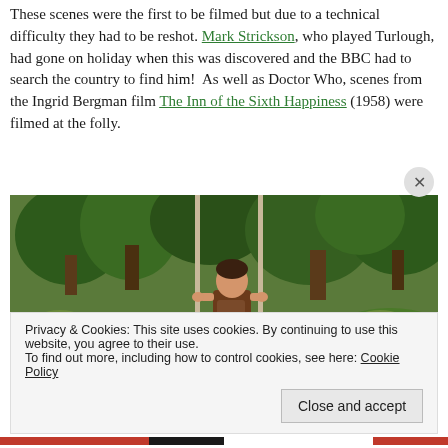These scenes were the first to be filmed but due to a technical difficulty they had to be reshot. Mark Strickson, who played Turlough, had gone on holiday when this was discovered and the BBC had to search the country to find him!  As well as Doctor Who, scenes from the Ingrid Bergman film The Inn of the Sixth Happiness (1958) were filmed at the folly.
[Figure (photo): A young boy with dark hair wearing a brown T-shirt, holding two vertical poles, standing in an outdoor woodland/grassy setting with trees and mossy stones in the background.]
Privacy & Cookies: This site uses cookies. By continuing to use this website, you agree to their use.
To find out more, including how to control cookies, see here: Cookie Policy